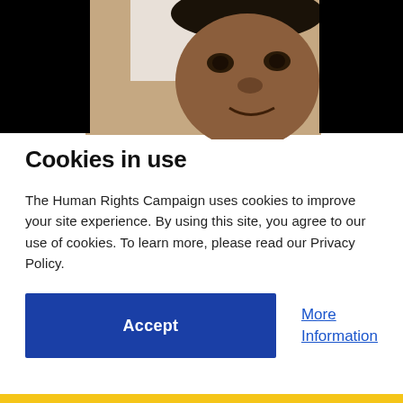[Figure (photo): Photograph of a young Black male smiling, close-up face shot, with two black rectangular panels on the left and right sides partially obscuring the image.]
Cookies in use
The Human Rights Campaign uses cookies to improve your site experience. By using this site, you agree to our use of cookies. To learn more, please read our Privacy Policy.
Accept
More Information